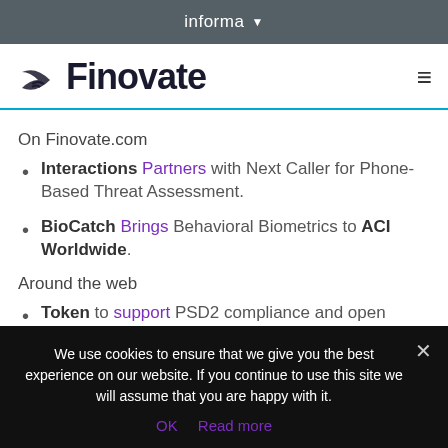informa
[Figure (logo): Finovate logo with stylized wing/arrow icon and hamburger menu icon]
On Finovate.com
Interactions Partners with Next Caller for Phone-Based Threat Assessment.
BioCatch Brings Behavioral Biometrics to ACI Worldwide.
Around the web
Token to support PSD2 compliance and open banking capabilities for U.K.'s thinkmoney
We use cookies to ensure that we give you the best experience on our website. If you continue to use this site we will assume that you are happy with it.
OK   Read more